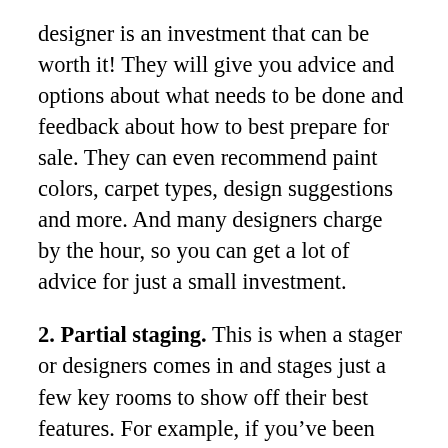designer is an investment that can be worth it!  They will give you advice and options about what needs to be done and feedback about how to best prepare for sale.  They can even recommend paint colors, carpet types, design suggestions and more.  And many designers charge by the hour, so you can get a lot of advice for just a small investment.
2.  Partial staging.  This is when a stager or designers comes in and stages just a few key rooms to show off their best features.  For example, if you've been using one of your home's bedrooms as an office, a stager can help you show it as a bedroom or an office.  Or if your furniture is old and outdated a stager